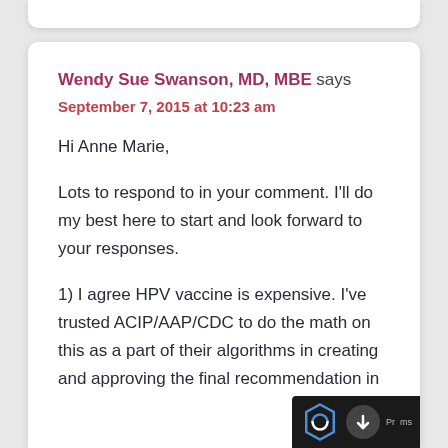Wendy Sue Swanson, MD, MBE says
September 7, 2015 at 10:23 am
Hi Anne Marie,

Lots to respond to in your comment. I'll do my best here to start and look forward to your responses.

1) I agree HPV vaccine is expensive. I've trusted ACIP/AAP/CDC to do the math on this as a part of their algorithms in creating and approving the final recommendation in